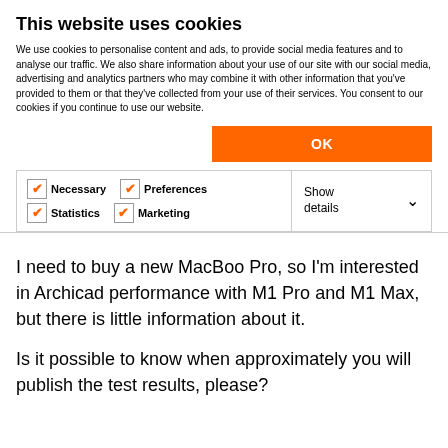This website uses cookies
We use cookies to personalise content and ads, to provide social media features and to analyse our traffic. We also share information about your use of our site with our social media, advertising and analytics partners who may combine it with other information that you've provided to them or that they've collected from your use of their services. You consent to our cookies if you continue to use our website.
OK
Necessary  Preferences  Statistics  Marketing  Show details
I need to buy a new MacBoo Pro, so I'm interested in Archicad performance with M1 Pro and M1 Max, but there is little information about it.
Is it possible to know when approximately you will publish the test results, please?